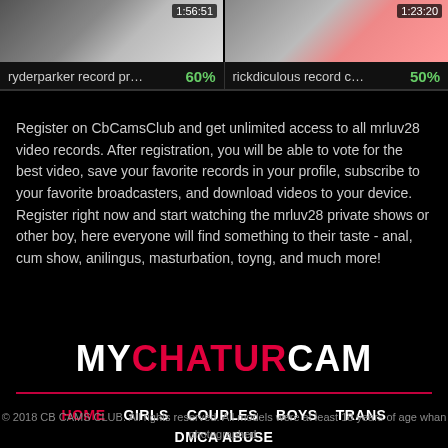[Figure (screenshot): Two video thumbnails side by side. Left thumbnail shows '1:56:51' timestamp. Right thumbnail shows '1:23:20' timestamp.]
ryderparker record pr…
60%
rickdiculous record c…
50%
Register on CbCamsClub and get unlimited access to all mrluv28 video records. After registration, you will be able to vote for the best video, save your favorite records in your profile, subscribe to your favorite broadcasters, and download videos to your device. Register right now and start watching the mrluv28 private shows or other boy, here everyone will find something to their taste - anal, cum show, anilingus, masturbation, toyng, and much more!
[Figure (logo): MYCHATURCAM logo in bold white and red text]
HOME
GIRLS
COUPLES
BOYS
TRANS
DMCA ABUSE
© 2018 CB CAMS CLUB. All rights reserved. All models were at least 18 years of age whan photographed.